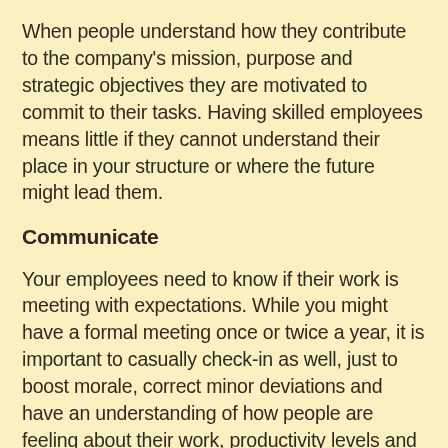When people understand how they contribute to the company's mission, purpose and strategic objectives they are motivated to commit to their tasks. Having skilled employees means little if they cannot understand their place in your structure or where the future might lead them.
Communicate
Your employees need to know if their work is meeting with expectations. While you might have a formal meeting once or twice a year, it is important to casually check-in as well, just to boost morale, correct minor deviations and have an understanding of how people are feeling about their work, productivity levels and expectations.